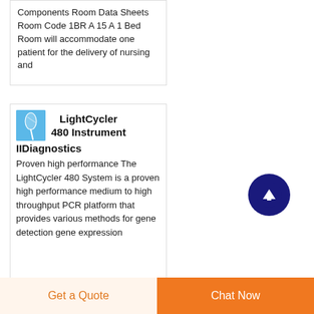Components Room Data Sheets Room Code 1BR A 15 A 1 Bed Room will accommodate one patient for the delivery of nursing and
LightCycler 480 Instrument II
IIDiagnostics
Proven high performance The LightCycler 480 System is a proven high performance medium to high throughput PCR platform that provides various methods for gene detection gene expression
[Figure (other): Scroll to top button — dark navy blue circle with white upward arrow]
Get a Quote
Chat Now